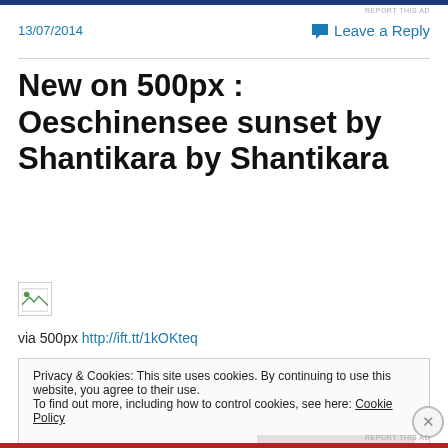REPORT THIS AD
13/07/2014
Leave a Reply
New on 500px : Oeschinensee sunset by Shantikara by Shantikara
[Figure (photo): Broken/loading image placeholder]
via 500px http://ift.tt/1kOKteq
Privacy & Cookies: This site uses cookies. By continuing to use this website, you agree to their use.
To find out more, including how to control cookies, see here: Cookie Policy
Close and accept
REPORT THIS AD